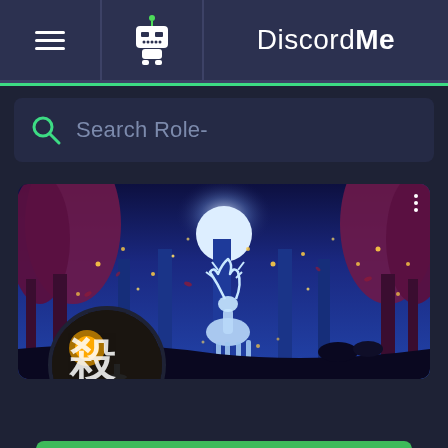[Figure (screenshot): DiscordMe website header with hamburger menu, robot icon, and DiscordMe logo]
Search Role-
[Figure (illustration): Animated forest scene with glowing deer silhouette under moonlight, trees and fireflies]
[Figure (photo): Server icon circle with Japanese character and dark illustrated scene]
Join Server